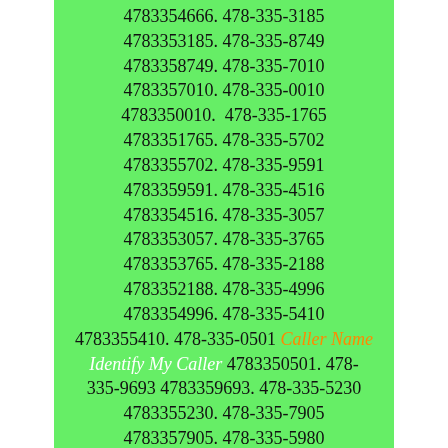4783354666. 478-335-3185
4783353185. 478-335-8749
4783358749. 478-335-7010
4783357010. 478-335-0010
4783350010.  478-335-1765
4783351765. 478-335-5702
4783355702. 478-335-9591
4783359591. 478-335-4516
4783354516. 478-335-3057
4783353057. 478-335-3765
4783353765. 478-335-2188
4783352188. 478-335-4996
4783354996. 478-335-5410
4783355410. 478-335-0501 Caller Name Identify My Caller 4783350501. 478-335-9693 4783359693. 478-335-5230
4783355230. 478-335-7905
4783357905. 478-335-5980
4783355980. 478-335-3191
4783353191. 478-335-7020
4783357020. 478-335-2153
4783352153. 478-335-8459
4783358459. 478-335-8702
4783358702. 478-335-2075
4783352075. 478-335-8399